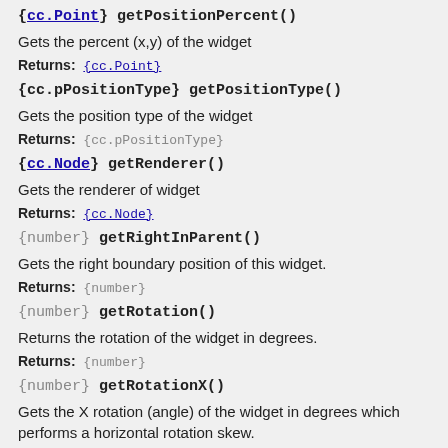{cc.Point} getPositionPercent()
Gets the percent (x,y) of the widget
Returns: {cc.Point}
{cc.pPositionType} getPositionType()
Gets the position type of the widget
Returns: {cc.pPositionType}
{cc.Node} getRenderer()
Gets the renderer of widget
Returns: {cc.Node}
{number} getRightInParent()
Gets the right boundary position of this widget.
Returns: {number}
{number} getRotation()
Returns the rotation of the widget in degrees.
Returns: {number}
{number} getRotationX()
Gets the X rotation (angle) of the widget in degrees which performs a horizontal rotation skew.
Returns: {number}